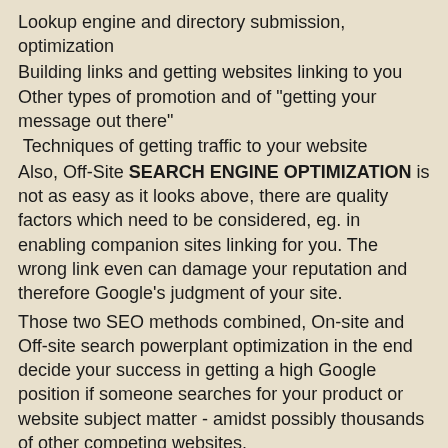Lookup engine and directory submission, optimization
Building links and getting websites linking to you
Other types of promotion and of "getting your message out there"
Techniques of getting traffic to your website
Also, Off-Site SEARCH ENGINE OPTIMIZATION is not as easy as it looks above, there are quality factors which need to be considered, eg. in enabling companion sites linking for you. The wrong link even can damage your reputation and therefore Google's judgment of your site.
Those two SEO methods combined, On-site and Off-site search powerplant optimization in the end decide your success in getting a high Google position if someone searches for your product or website subject matter - amidst possibly thousands of other competing websites.
Blackhat SEO, Greyhat SEO and Whitehat SEO
"Blackhat" marketing methods are "forbidden" methods that can be Onsite SEO or Offsite optimization: Tricking search engines like google or visitors, various methods which are against honest or juristical policies (Google's or if your